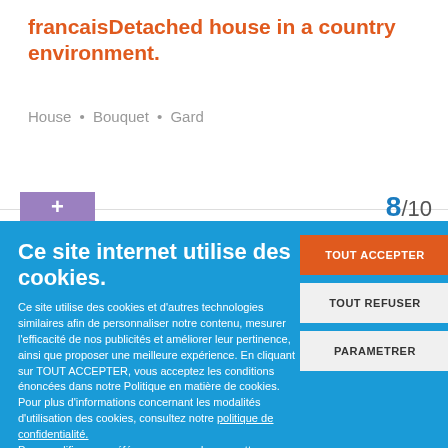francaisDetached house in a country environment.
House • Bouquet • Gard
8/10
Ce site internet utilise des cookies.
Ce site utilise des cookies et d'autres technologies similaires afin de personnaliser notre contenu, mesurer l'efficacité de nos publicités et améliorer leur pertinence, ainsi que proposer une meilleure expérience. En cliquant sur TOUT ACCEPTER, vous acceptez les conditions énoncées dans notre Politique en matière de cookies. Pour plus d'informations concernant les modalités d'utilisation des cookies, consultez notre politique de confidentialité. Pour modifier vos préférences, vous devez mettre paramétrer vos préférences de cookies.